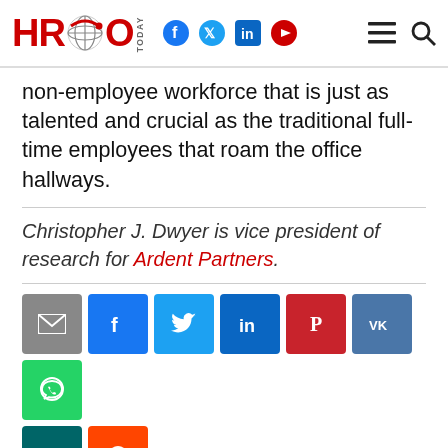HRO Today
non-employee workforce that is just as talented and crucial as the traditional full-time employees that roam the office hallways.
Christopher J. Dwyer is vice president of research for Ardent Partners.
[Figure (other): Social share buttons: email, Facebook, Twitter, LinkedIn, Pinterest, VK, WhatsApp, Xing, Reddit]
Tags: MSP / Contingent Labor